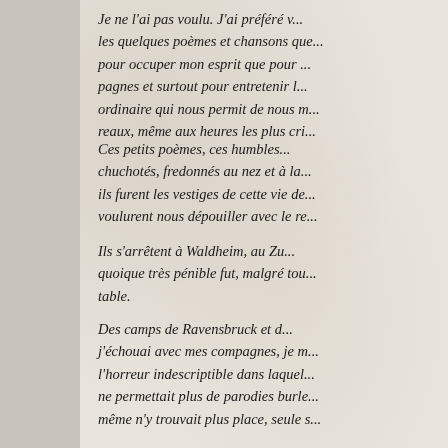Je ne l'ai pas voulu. J'ai préféré v... les quelques poèmes et chansons que... pour occuper mon esprit que pour ... pagnes et surtout pour entretenir l... ordinaire qui nous permit de nous m... reaux, même aux heures les plus cri...
Ces petits poèmes, ces humbles... chuchotés, fredonnés au nez et à la... ils furent les vestiges de cette vie de... voulurent nous dépouiller avec le re...
Ils s'arrêtent à Waldheim, au Zu... quoique très pénible fut, malgré tou... table.
Des camps de Ravensbruck et d... j'échouai avec mes compagnes, je m... l'horreur indescriptible dans laquel... ne permettait plus de parodies burle... même n'y trouvait plus place, seule s...